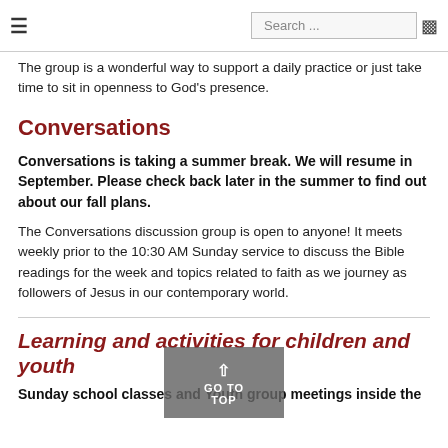≡  Search ...
The group is a wonderful way to support a daily practice or just take time to sit in openness to God's presence.
Conversations
Conversations is taking a summer break. We will resume in September. Please check back later in the summer to find out about our fall plans.
The Conversations discussion group is open to anyone! It meets weekly prior to the 10:30 AM Sunday service to discuss the Bible readings for the week and topics related to faith as we journey as followers of Jesus in our contemporary world.
Learning and activities for children and youth
Sunday school classes and Youth group meetings inside the